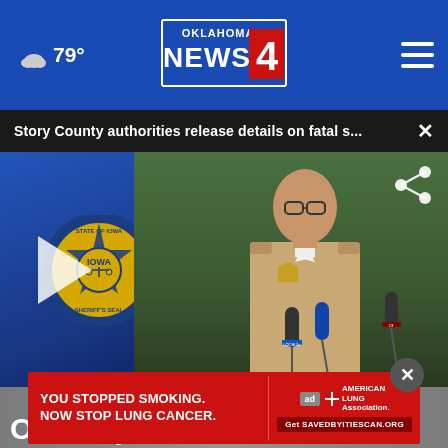79° Oklahoma's News 4
Story County authorities release details on fatal s... ×
[Figure (screenshot): Video player showing a press conference scene with a sheriff's department officer in tan uniform speaking at a podium with microphones. Iowa sheriff's seal visible in background. Play button overlay visible.]
[Figure (infographic): Advertisement overlay: YOU STOPPED SMOKING. NOW STOP LUNG CANCER. American Lung Association. Get SAVEDBYITIESCAN.ORG]
Ok
in...tiga...tion d...tails...